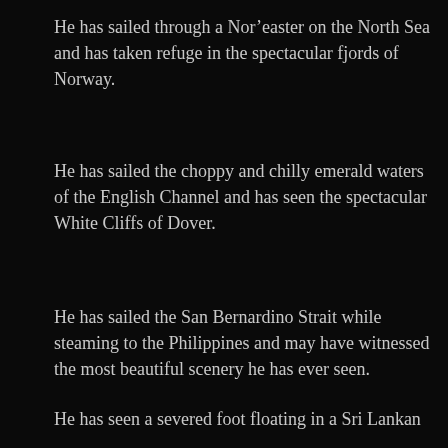He has sailed through a Nor’easter on the North Sea and has taken refuge in the spectacular fjords of Norway.
He has sailed the choppy and chilly emerald waters of the English Channel and has seen the spectacular White Cliffs of Dover.
He has sailed the San Bernardino Strait while steaming to the Philippines and may have witnessed the most beautiful scenery he has ever seen.
[Figure (other): Advertisement banner for DayOne journaling app showing a phone mockup and the text 'Your Journal for life' with the DayOne logo]
He has seen a severed foot floating in a Sri Lankan